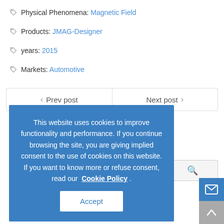Physical Phenomena: Magnetic Field
Products: JMAG-Designer
years: 2015
Markets: Automotive
Prev post   Next post
This website uses cookies to improve functionality and performance. If you continue browsing the site, you are giving implied consent to the use of cookies on this website. If you want to know more or refuse consent, read our Cookie Policy . Accept